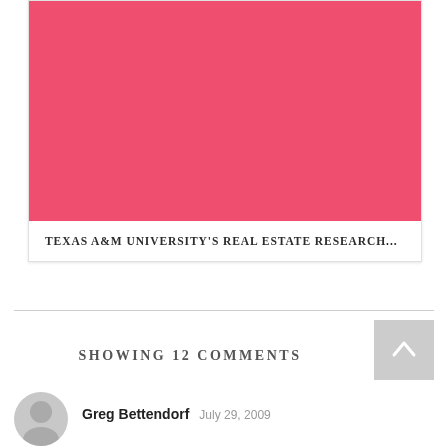[Figure (illustration): Pink/red rectangular image placeholder inside a card]
TEXAS A&M UNIVERSITY'S REAL ESTATE RESEARCH...
SHOWING 12 COMMENTS
Greg Bettendorf   July 29, 2009